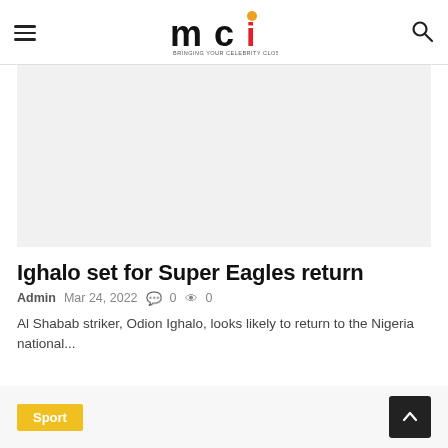mci — BRINGING YOUR CELEBRITY CLOSER TO YOU
[Figure (photo): Article hero image placeholder — light grey rectangle]
Ighalo set for Super Eagles return
Admin  Mar 24, 2022  0  0
Al Shabab striker, Odion Ighalo, looks likely to return to the Nigeria national...
Sport